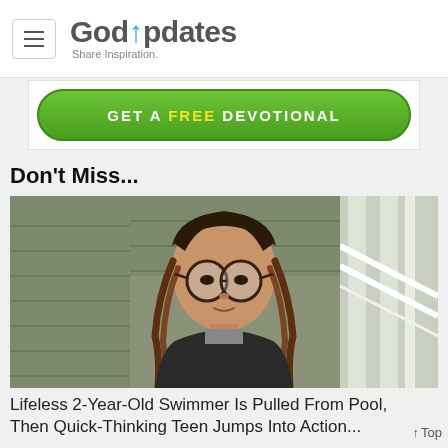GodUpdates — Share Inspiration.
[Figure (screenshot): GET A FREE DEVOTIONAL green banner button advertisement]
Don't Miss...
[Figure (photo): Young teenage girl with braids and round glasses, standing outside in front of a house with grey siding and white trim, wearing a dark zip-up hoodie over a grey shirt]
Lifeless 2-Year-Old Swimmer Is Pulled From Pool, Then Quick-Thinking Teen Jumps Into Action...